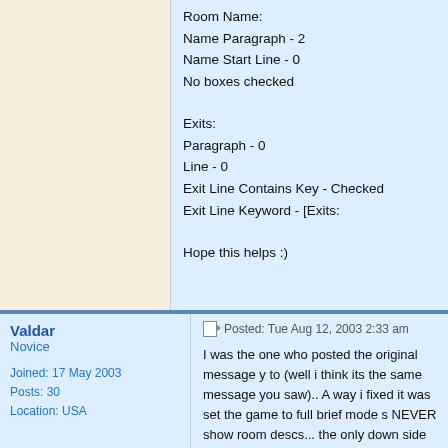Room Name:
Name Paragraph - 2
Name Start Line - 0
No boxes checked

Exits:
Paragraph - 0
Line - 0
Exit Line Contains Key - Checked
Exit Line Keyword - [Exits:

Hope this helps :)
Valdar
Novice
Joined: 17 May 2003
Posts: 30
Location: USA
Posted: Tue Aug 12, 2003 2:33 am
I was the one who posted the original message y to (well i think its the same message you saw).. A way i fixed it was set the game to full brief mode s NEVER show room descs... the only down side is cant have zMUD refresh a room's setup using the since if you type look it will show the room desc a zMUD is setup for no room desc it wont know wh have been working on a way to capture the room however...

-- next text below off screen --